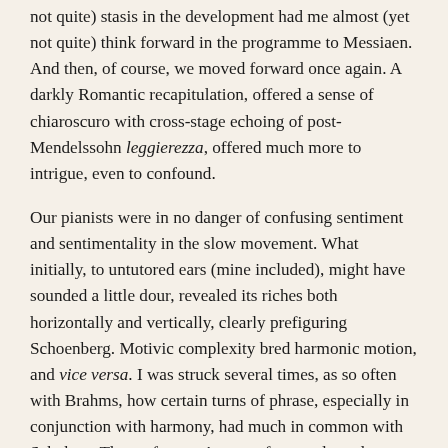not quite) stasis in the development had me almost (yet not quite) think forward in the programme to Messiaen. And then, of course, we moved forward once again. A darkly Romantic recapitulation, offered a sense of chiaroscuro with cross-stage echoing of post-Mendelssohn leggierezza, offered much more to intrigue, even to confound.
Our pianists were in no danger of confusing sentiment and sentimentality in the slow movement. What initially, to untutored ears (mine included), might have sounded a little dour, revealed its riches both horizontally and vertically, clearly prefiguring Schoenberg. Motivic complexity bred harmonic motion, and vice versa. I was struck several times, as so often with Brahms, how certain turns of phrase, especially in conjunction with harmony, had much in common with Schubert. The performers' sense of onward tread was not dissimilar to his music either. A surprising, rather winning sense of near-swing to the opening of the scherzo was soon confounded by muscular strength of rhythm. Rhythms, though, could equally be lightly sprung. There was no more